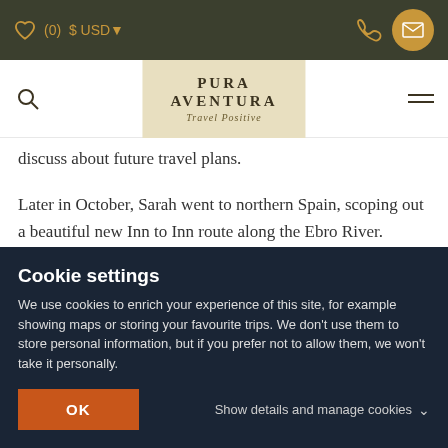(0) $ USD ♥ — Pura Aventura Travel Positive — phone, mail icons, hamburger menu
discuss about future travel plans.
Later in October, Sarah went to northern Spain, scoping out a beautiful new Inn to Inn route along the Ebro River.
At the same time, Diego introduced our brand new destination that is Portugal to one of our business groups. He guided them from the fascinating wine lands
Cookie settings
We use cookies to enrich your experience of this site, for example showing maps or storing your favourite trips. We don't use them to store personal information, but if you prefer not to allow them, we won't take it personally.
OK
Show details and manage cookies